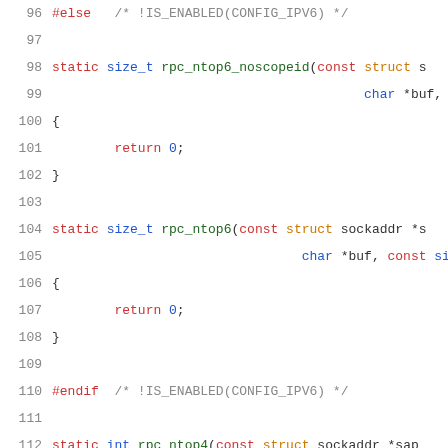[Figure (screenshot): Source code viewer showing C code lines 96-116. Lines include preprocessor directives (#else, #endif), static function definitions (rpc_ntop6_noscopeid, rpc_ntop6, rpc_ntop4), and their bodies with return statements and variable declarations. Syntax highlighted with red for preprocessor/keywords, blue for types, teal for function names.]